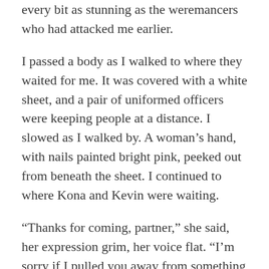every bit as stunning as the weremancers who had attacked me earlier.
I passed a body as I walked to where they waited for me. It was covered with a white sheet, and a pair of uniformed officers were keeping people at a distance. I slowed as I walked by. A woman’s hand, with nails painted bright pink, peeked out from beneath the sheet. I continued to where Kona and Kevin were waiting.
“Thanks for coming, partner,” she said, her expression grim, her voice flat. “I’m sorry if I pulled you away from something important.”
“I can’t even begin to tell you how you didn’t. Hey, Kevin.” I held out my hand and Kevin gripped it.